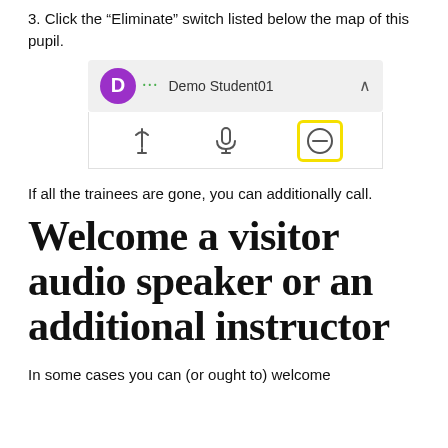3. Click the “Eliminate” switch listed below the map of this pupil.
[Figure (screenshot): UI screenshot showing a student card with purple 'D' avatar, 'Demo Student01' label, a chevron, and an icons row beneath with a pin icon, microphone icon, and a minus/eliminate button highlighted with a yellow border.]
If all the trainees are gone, you can additionally call.
Welcome a visitor audio speaker or an additional instructor
In some cases you can (or ought to) welcome